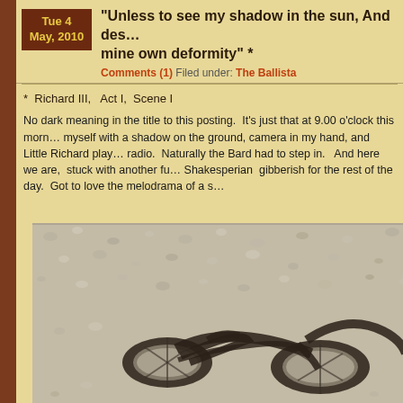“Unless to see my shadow in the sun, And des… mine own deformity” *
Comments (1) Filed under: The Ballista
*  Richard III,  Act I,  Scene I
No dark meaning in the title to this posting.  It’s just that at 9.00 o’clock this morn… myself with a shadow on the ground, camera in my hand, and Little Richard play… radio.  Naturally the Bard had to step in.  And here we are,  stuck with another fu… Shakesperian  gibberish for the rest of the day.  Got to love the melodrama of a s…
[Figure (photo): A shadow of a bicycle cast on sandy gravel ground, photographed from above in sunlight.]